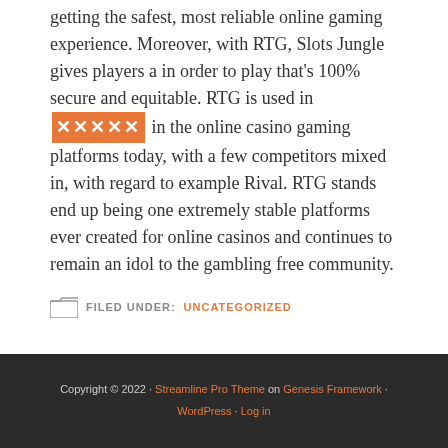getting the safest, most reliable online gaming experience. Moreover, with RTG, Slots Jungle gives players a in order to play that's 100% secure and equitable. RTG is used in [XXXXX] in the online casino gaming platforms today, with a few competitors mixed in, with regard to example Rival. RTG stands end up being one extremely stable platforms ever created for online casinos and continues to remain an idol to the gambling free community.
FILED UNDER: UNCATEGORIZED
Copyright © 2022 · Streamline Pro Theme on Genesis Framework · WordPress · Log in